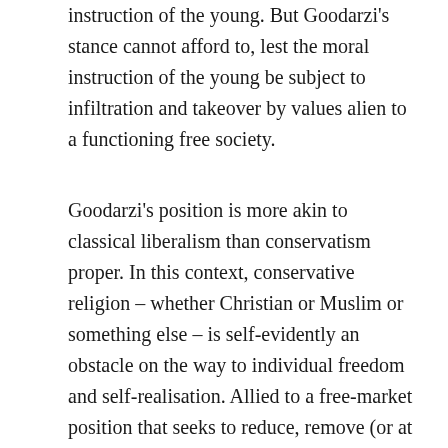instruction of the young. But Goodarzi's stance cannot afford to, lest the moral instruction of the young be subject to infiltration and takeover by values alien to a functioning free society.
Goodarzi's position is more akin to classical liberalism than conservatism proper. In this context, conservative religion – whether Christian or Muslim or something else – is self-evidently an obstacle on the way to individual freedom and self-realisation. Allied to a free-market position that seeks to reduce, remove (or at least disguise) the role of the state in the operation of markets, this is a type of 'conservatism' (perhaps more properly called progressive free-market liberalism) typified by George Osborne. Morality, inasmuch as it is discussed at all, is in a sense negative, consisting mainly